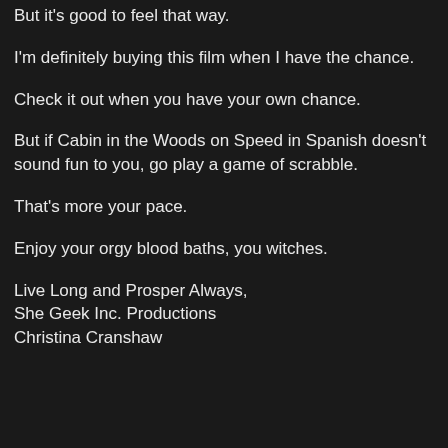But it's good to feel that way.
I'm definitely buying this film when I have the chance.
Check it out when you have your own chance.
But if Cabin in the Woods on Speed in Spanish doesn't sound fun to you, go play a game of scrabble.
That's more your pace.
Enjoy your orgy blood baths, you witches.
Live Long and Prosper Always,
She Geek Inc. Productions
Christina Cranshaw